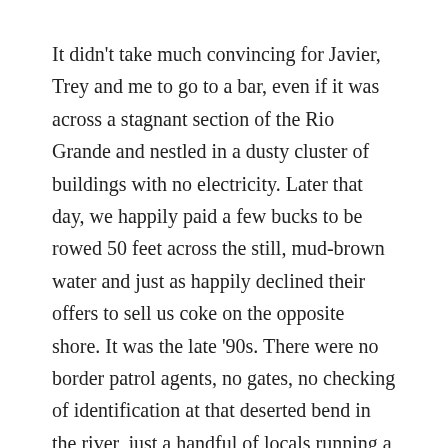It didn't take much convincing for Javier, Trey and me to go to a bar, even if it was across a stagnant section of the Rio Grande and nestled in a dusty cluster of buildings with no electricity. Later that day, we happily paid a few bucks to be rowed 50 feet across the still, mud-brown water and just as happily declined their offers to sell us coke on the opposite shore. It was the late '90s. There were no border patrol agents, no gates, no checking of identification at that deserted bend in the river, just a handful of locals running a rowboat service.
We found the bar, indistinguishable from the rest of the modest buildings, except that it had a counter inside with a guy selling liquor behind it. We started to order a shot of sotol each, but when we found out a bottle was